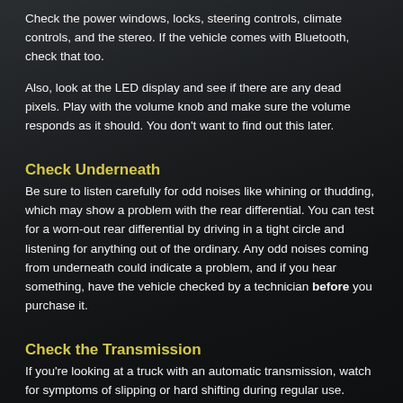Check the power windows, locks, steering controls, climate controls, and the stereo. If the vehicle comes with Bluetooth, check that too.
Also, look at the LED display and see if there are any dead pixels. Play with the volume knob and make sure the volume responds as it should. You don't want to find out this later.
Check Underneath
Be sure to listen carefully for odd noises like whining or thudding, which may show a problem with the rear differential. You can test for a worn-out rear differential by driving in a tight circle and listening for anything out of the ordinary. Any odd noises coming from underneath could indicate a problem, and if you hear something, have the vehicle checked by a technician before you purchase it.
Check the Transmission
If you're looking at a truck with an automatic transmission, watch for symptoms of slipping or hard shifting during regular use. Sometimes, all the truck needs is transmission fluid, while other times the transmission is already damaged.